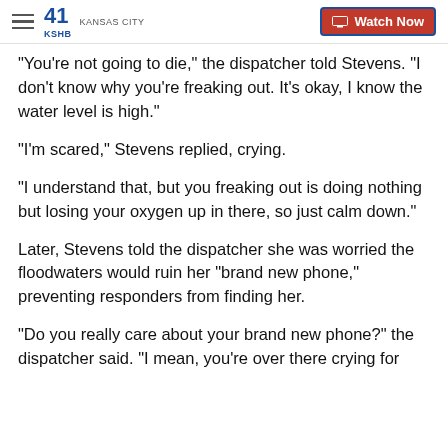41 KSHB KANSAS CITY | Watch Now
"You're not going to die," the dispatcher told Stevens. "I don't know why you're freaking out. It's okay, I know the water level is high."
"I'm scared," Stevens replied, crying.
"I understand that, but you freaking out is doing nothing but losing your oxygen up in there, so just calm down."
Later, Stevens told the dispatcher she was worried the floodwaters would ruin her "brand new phone," preventing responders from finding her.
"Do you really care about your brand new phone?" the dispatcher said. "I mean, you're over there crying for